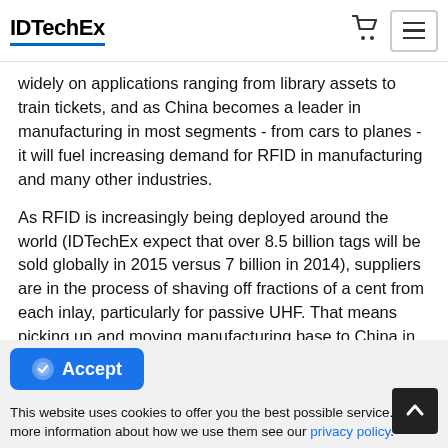IDTechEx
widely on applications ranging from library assets to train tickets, and as China becomes a leader in manufacturing in most segments - from cars to planes - it will fuel increasing demand for RFID in manufacturing and many other industries.
As RFID is increasingly being deployed around the world (IDTechEx expect that over 8.5 billion tags will be sold globally in 2015 versus 7 billion in 2014), suppliers are in the process of shaving off fractions of a cent from each inlay, particularly for passive UHF. That means picking up and moving manufacturing base to China in some cases. There have also been other, relatively new entrants that by strong investment (including acquisition) have gained a relatively high market
Accept
This website uses cookies to offer you the best possible service. For more information about how we use them see our privacy policy.